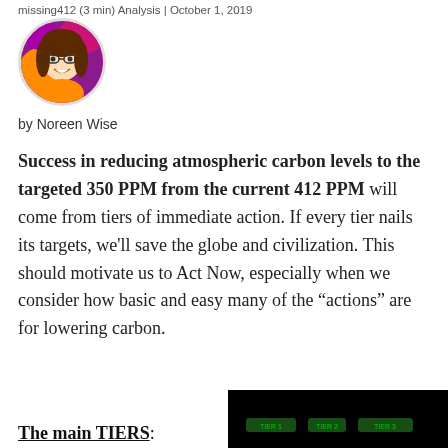missing412 (3 min) Analysis | October 1, 2019
[Figure (illustration): Circular avatar of a cartoon woman with brown hair, glasses, orange top, on a colorful background]
by Noreen Wise
Success in reducing atmospheric carbon levels to the targeted 350 PPM from the current 412 PPM will come from tiers of immediate action. If every tier nails its targets, we’ll save the globe and civilization. This should motivate us to Act Now, especially when we consider how basic and easy many of the “actions” are for lowering carbon.
The main TIERS:
[Figure (screenshot): Dark/black background image with small green text elements, partially visible at bottom right]